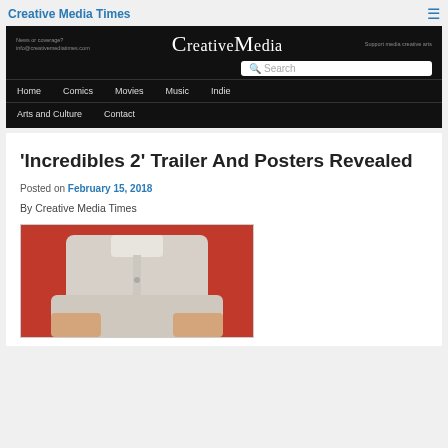Creative Media Times
[Figure (screenshot): Creative Media Times website navigation banner with logo, search bar, and menu links: Home, Comics, Movies, Music, Indie, Arts and Culture, Contact]
'Incredibles 2' Trailer And Posters Revealed
Posted on February 15, 2018
By Creative Media Times
[Figure (photo): Partial photo of a person wearing a light grey polo shirt against a red background, arms crossed, cropped at chest level]